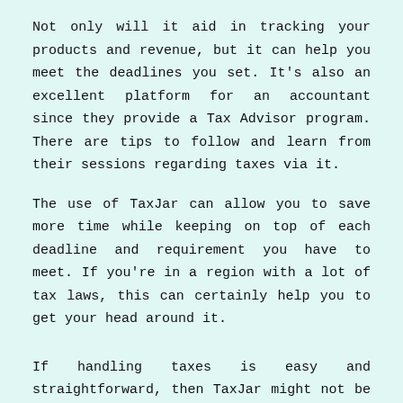Not only will it aid in tracking your products and revenue, but it can help you meet the deadlines you set. It's also an excellent platform for an accountant since they provide a Tax Advisor program. There are tips to follow and learn from their sessions regarding taxes via it.
The use of TaxJar can allow you to save more time while keeping on top of each deadline and requirement you have to meet. If you're in a region with a lot of tax laws, this can certainly help you to get your head around it.
If handling taxes is easy and straightforward, then TaxJar might not be a good investment. If you're only dealing with one or two channels for sales, TaxJar won't be needed to keep track of everything. Moreover, if you find the entire process easy to do then you're better to do it by yourself.